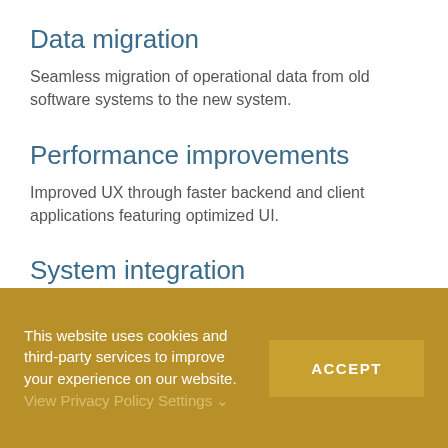Data migration
Seamless migration of operational data from old software systems to the new system.
Performance improvements
Improved UX through faster backend and client applications featuring optimized UI.
System integration
This website uses cookies and third-party services to improve your experience on our website. View Privacy Policy Settings